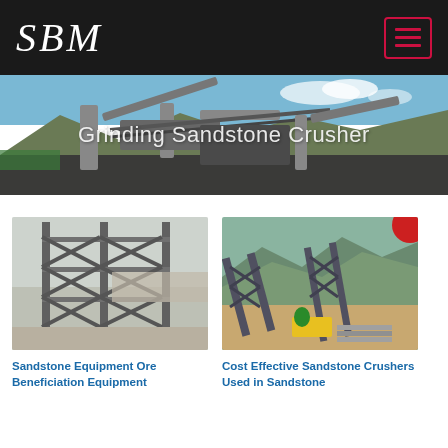SBM
Grinding Sandstone Crusher
[Figure (photo): Industrial sandstone crusher equipment on a construction site with conveyor belts and machinery under a blue sky]
[Figure (photo): Steel lattice structure / scaffolding frame at a mining or construction site, foggy background]
Sandstone Equipment Ore Beneficiation Equipment
[Figure (photo): Outdoor crusher/conveyor system at a quarry site with mountains in background, red element visible top right]
Cost Effective Sandstone Crushers Used in Sandstone